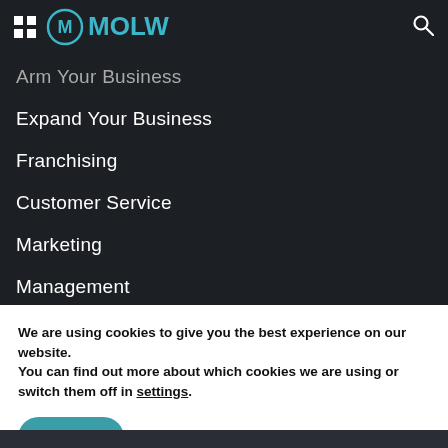MOLW
Arm Your Business
Expand Your Business
Franchising
Customer Service
Marketing
Management
Tech
Online Shopping
We are using cookies to give you the best experience on our website.
You can find out more about which cookies we are using or switch them off in settings.
Accept